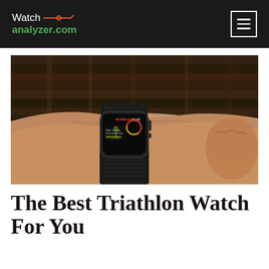Watch analyzer.com
[Figure (photo): A person's wrist wearing a black Apple Watch displaying a high-intensity interval training workout screen, set against a dark wooden background.]
The Best Triathlon Watch For You